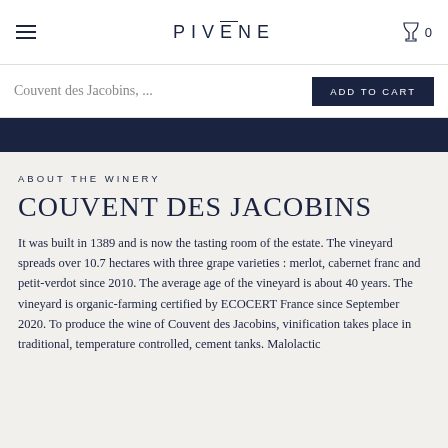PIVĒNE
Couvent des Jacobins, ...
ADD TO CART
ABOUT THE WINERY
COUVENT DES JACOBINS
It was built in 1389 and is now the tasting room of the estate. The vineyard spreads over 10.7 hectares with three grape varieties : merlot, cabernet franc and petit-verdot since 2010. The average age of the vineyard is about 40 years. The vineyard is organic-farming certified by ECOCERT France since September 2020. To produce the wine of Couvent des Jacobins, vinification takes place in traditional, temperature controlled, cement tanks. Malolactic